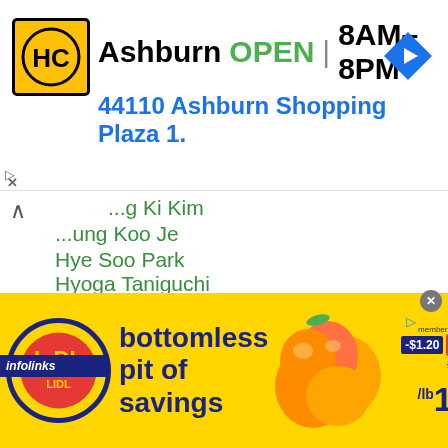[Figure (screenshot): HC store locator banner showing Ashburn location, OPEN 8AM-8PM, address 44110 Ashburn Shopping Plaza 1., with HC logo and navigation arrow icon]
...g Ki Kim
...ung Koo Je
Hye Soo Park
Hyoga Taniguchi
Hyogo Kimura
Hyuga Gushiken
Hyuma Fujioka
Hyun Je Shin
Hyun Jin Moon
Hyun Mi Choi
Hyun Min Yang
...ae Bae
[Figure (advertisement): Lidl advertisement banner: bottomless pit of savings, peaches image, price $1.79/lb with -$1.20 member discount from $2.99]